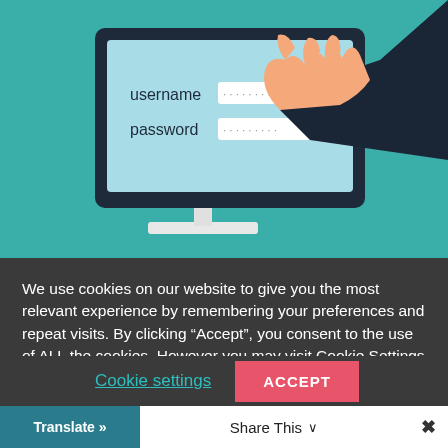[Figure (illustration): Illustration of a computer monitor displaying a login form with username and password fields (password shown as dots), and a dark-sleeved arm reaching in from the right side stealing/hacking credentials, on a teal/green background.]
We use cookies on our website to give you the most relevant experience by remembering your preferences and repeat visits. By clicking “Accept”, you consent to the use of ALL the cookies. However you may visit Cookie Settings to provide a controlled consent.
Cookie settings
ACCEPT
Translate »
Share This ∨